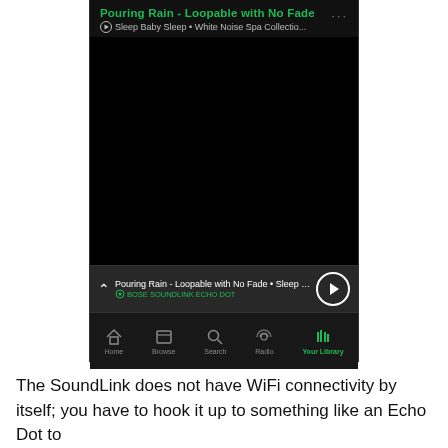[Figure (screenshot): Spotify app screenshot showing 'Pouring Rain - Loopable with No Fade' playing from 'Sleep Baby Sleep • White Noise Spa Collectio...' with a dark album art area, a now-playing bar showing 'BOSE SOUNDLINK ECHO DOT', a play button, and bottom navigation with Home, Browse, Search, Radio, Your Library tabs.]
The SoundLink does not have WiFi connectivity by itself; you have to hook it up to something like an Echo Dot to